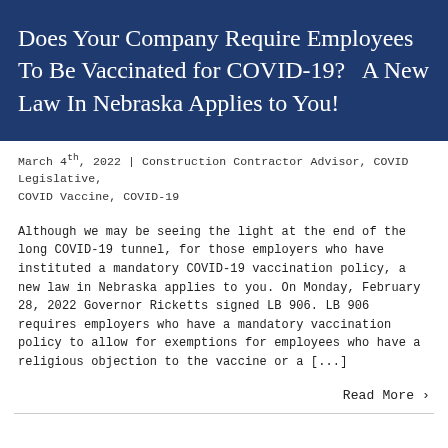Does Your Company Require Employees To Be Vaccinated for COVID-19?   A New Law In Nebraska Applies to You!
March 4th, 2022 | Construction Contractor Advisor, COVID Legislative, COVID Vaccine, COVID-19
Although we may be seeing the light at the end of the long COVID-19 tunnel, for those employers who have instituted a mandatory COVID-19 vaccination policy, a new law in Nebraska applies to you. On Monday, February 28, 2022 Governor Ricketts signed LB 906. LB 906 requires employers who have a mandatory vaccination policy to allow for exemptions for employees who have a religious objection to the vaccine or a [...]
Read More ›